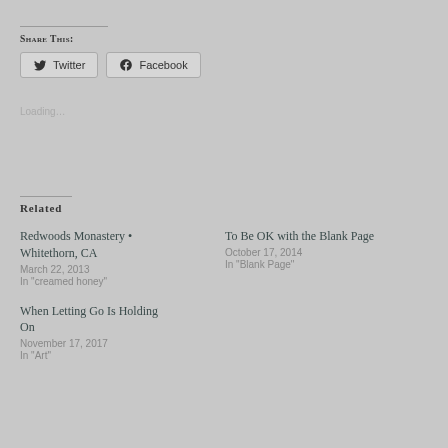Share this:
Twitter  Facebook
Loading…
Related
Redwoods Monastery • Whitethorn, CA
March 22, 2013
In "creamed honey"
To Be OK with the Blank Page
October 17, 2014
In "Blank Page"
When Letting Go Is Holding On
November 17, 2017
In "Art"